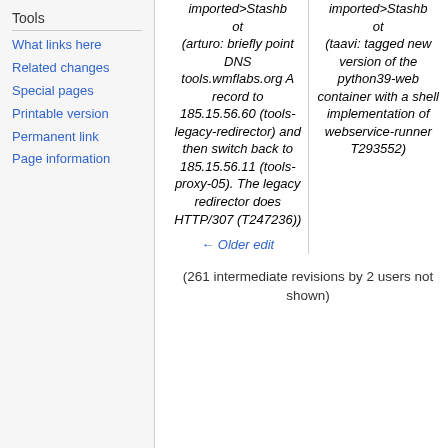Tools
What links here
Related changes
Special pages
Printable version
Permanent link
Page information
imported>Stashbot (arturo: briefly point DNS tools.wmflabs.org A record to 185.15.56.60 (tools-legacy-redirector) and then switch back to 185.15.56.11 (tools-proxy-05). The legacy redirector does HTTP/307 (T247236))
imported>Stashbot (taavi: tagged new version of the python39-web container with a shell implementation of webservice-runner T293552)
← Older edit
(261 intermediate revisions by 2 users not shown)